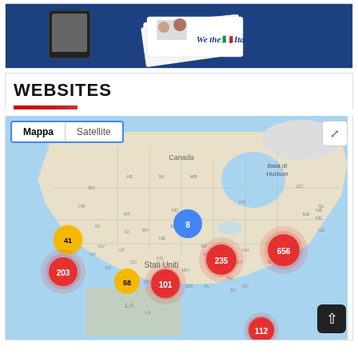[Figure (photo): Photo of 'We the Italians' branded books/tablets on a blue background]
WEBSITES
[Figure (map): Google Map (Mappa/Satellite toggle) showing cluster markers across the United States and Canada: yellow 41 (west coast CA), red 203 (CA coast), yellow 58 (AZ/NM area), red 101 (TX area), red 235 (midwest/IL), red 656 (northeast/PA-NY), blue 8 (ND/MN area), red 112 (bottom partial, southeast)]